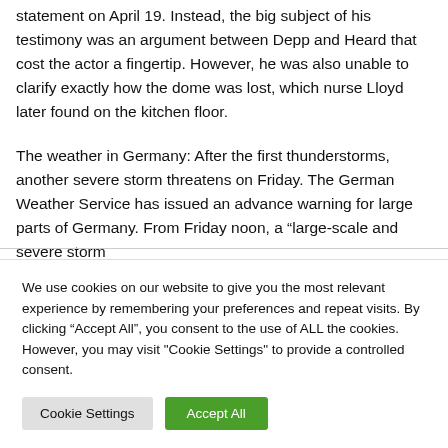statement on April 19. Instead, the big subject of his testimony was an argument between Depp and Heard that cost the actor a fingertip. However, he was also unable to clarify exactly how the dome was lost, which nurse Lloyd later found on the kitchen floor.
The weather in Germany: After the first thunderstorms, another severe storm threatens on Friday. The German Weather Service has issued an advance warning for large parts of Germany. From Friday noon, a “large-scale and severe storm
We use cookies on our website to give you the most relevant experience by remembering your preferences and repeat visits. By clicking “Accept All”, you consent to the use of ALL the cookies. However, you may visit "Cookie Settings" to provide a controlled consent.